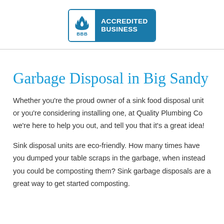[Figure (logo): BBB Accredited Business badge with flame logo on left white panel and 'ACCREDITED BUSINESS' text on right blue panel]
Garbage Disposal in Big Sandy
Whether you're the proud owner of a sink food disposal unit or you're considering installing one, at Quality Plumbing Co we're here to help you out, and tell you that it's a great idea!
Sink disposal units are eco-friendly. How many times have you dumped your table scraps in the garbage, when instead you could be composting them? Sink garbage disposals are a great way to get started composting.